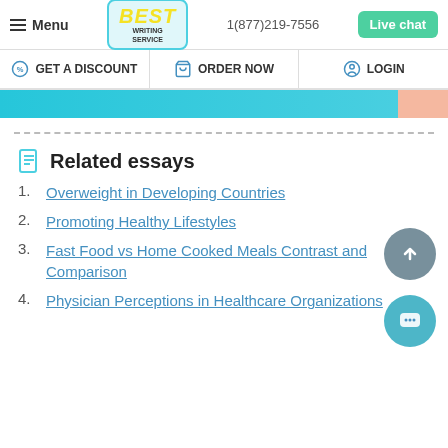Menu | BEST WRITING SERVICE | 1(877)219-7556 | Live chat
GET A DISCOUNT | ORDER NOW | LOGIN
Related essays
1. Overweight in Developing Countries
2. Promoting Healthy Lifestyles
3. Fast Food vs Home Cooked Meals Contrast and Comparison
4. Physician Perceptions in Healthcare Organizations